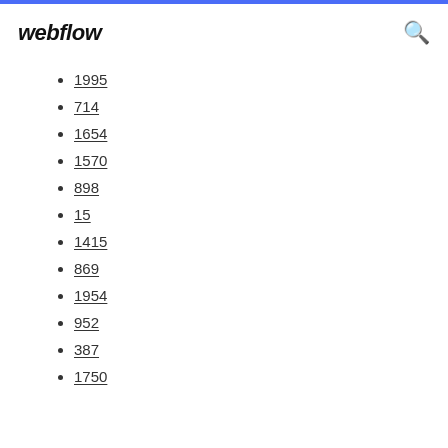webflow
1995
714
1654
1570
898
15
1415
869
1954
952
387
1750